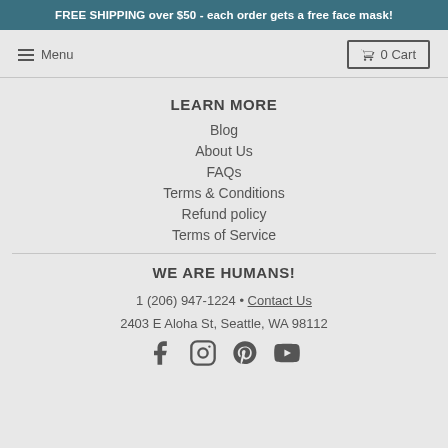FREE SHIPPING over $50 - each order gets a free face mask!
Menu
0 Cart
LEARN MORE
Blog
About Us
FAQs
Terms & Conditions
Refund policy
Terms of Service
WE ARE HUMANS!
1 (206) 947-1224 • Contact Us
2403 E Aloha St, Seattle, WA 98112
[Figure (infographic): Social media icons: Facebook, Instagram, Pinterest, YouTube]